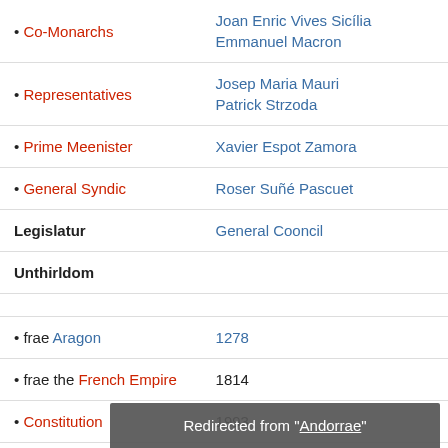| • Co-Monarchs | Joan Enric Vives Sicília
Emmanuel Macron |
| • Representatives | Josep Maria Mauri
Patrick Strzoda |
| • Prime Meenister | Xavier Espot Zamora |
| • General Syndic | Roser Suñé Pascuet |
| Legislatur | General Cooncil |
| Unthirldom |  |
|  |  |
| • frae Aragon | 1278 |
| • frae the French Empire | 1814 |
| • Constitution | 1993 |
| Aurie |  |
Redirected from "Andorrae"